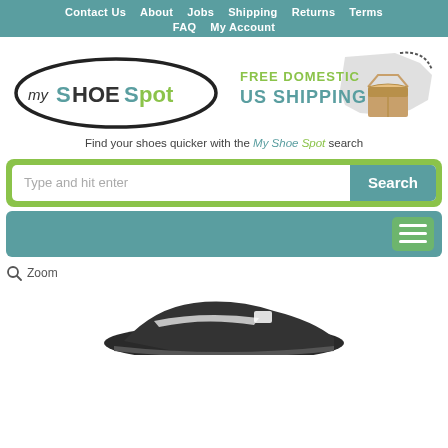Contact Us  About  Jobs  Shipping  Returns  Terms  FAQ  My Account
[Figure (logo): My Shoe Spot logo — handwritten oval outline with 'my' in dark, 'SHOE' in teal, 'Spot' in green lettering]
[Figure (infographic): Free Domestic US Shipping graphic with text and cardboard box icon over USA map silhouette]
Find your shoes quicker with the My Shoe Spot search
[Figure (screenshot): Search bar with placeholder 'Type and hit enter' and a teal Search button, inside a green rounded container]
[Figure (screenshot): Teal category navigation bar with green hamburger menu button]
Zoom
[Figure (photo): Partial view of a dark athletic/running shoe, bottom portion cropped]